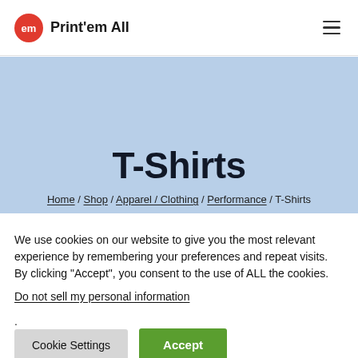Print'em All
T-Shirts
Home / Shop / Apparel / Clothing / Performance / T-Shirts
We use cookies on our website to give you the most relevant experience by remembering your preferences and repeat visits. By clicking “Accept”, you consent to the use of ALL the cookies.
Do not sell my personal information.